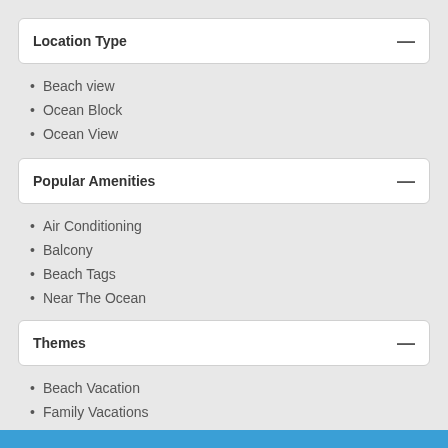Location Type
Beach view
Ocean Block
Ocean View
Popular Amenities
Air Conditioning
Balcony
Beach Tags
Near The Ocean
Themes
Beach Vacation
Family Vacations
Tourist Attractions